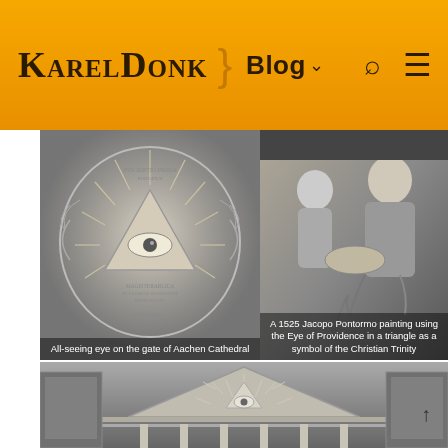KarelDonk | Blog
[Figure (photo): All-seeing eye (Eye of Providence) on the gate of Aachen Cathedral, carved stone relief in grayscale]
All-seeing eye on the gate of Aachen Cathedral
[Figure (photo): A 1525 Jacopo Pontormo painting using the Eye of Providence in a triangle as a symbol of the Christian Trinity, grayscale]
A 1525 Jacopo Pontormo painting using the Eye of Providence in a triangle as a symbol of the Christian Trinity
[Figure (photo): Architectural detail of a building facade showing an all-seeing eye / sunburst pattern, grayscale, partial view]